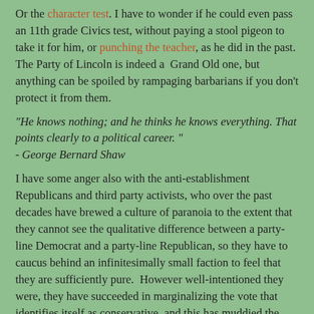Or the character test. I have to wonder if he could even pass an 11th grade Civics test, without paying a stool pigeon to take it for him, or punching the teacher, as he did in the past.  The Party of Lincoln is indeed a  Grand Old one, but anything can be spoiled by rampaging barbarians if you don't protect it from them.
"He knows nothing; and he thinks he knows everything. That points clearly to a political career." - George Bernard Shaw
I have some anger also with the anti-establishment Republicans and third party activists, who over the past decades have brewed a culture of paranoia to the extent that they cannot see the qualitative difference between a party-line Democrat and a party-line Republican, so they have to caucus behind an infinitesimally small faction to feel that they are sufficiently pure.  However well-intentioned they were, they have succeeded in marginalizing the vote that identifies itself as conservative, and this has muddied the waters enough that Trump has been able to sweep to victory in a shocking number of states and still manages to convince some that he is conservative.